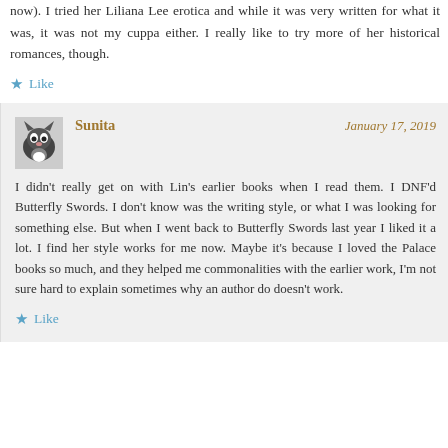now). I tried her Liliana Lee erotica and while it was very written for what it was, it was not my cuppa either. I really like to try more of her historical romances, though.
★ Like
Sunita    January 17, 2019
I didn't really get on with Lin's earlier books when I read them. I DNF'd Butterfly Swords. I don't know was the writing style, or what I was looking for something else. But when I went back to Butterfly Swords last year I liked it a lot. I find her style works for me now. Maybe it's because I loved the Palace books so much, and they helped me commonalities with the earlier work, I'm not sure hard to explain sometimes why an author doesn't work.
★ Like